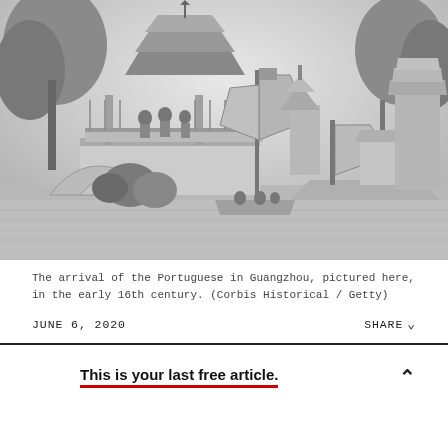[Figure (illustration): Black and white historical engraving showing the arrival of the Portuguese in Guangzhou in the early 16th century. Scene depicts Chinese pagodas, sailing junks with large sails, figures on a decorated bridge/pavilion, lush vegetation, and boats on a river.]
The arrival of the Portuguese in Guangzhou, pictured here, in the early 16th century. (Corbis Historical / Getty)
JUNE 6, 2020
SHARE
This is your last free article.